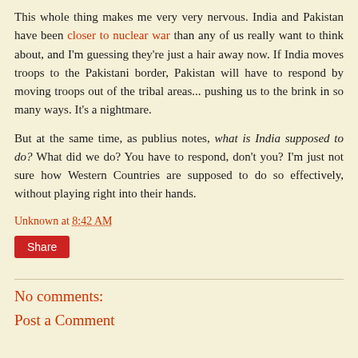This whole thing makes me very very nervous. India and Pakistan have been closer to nuclear war than any of us really want to think about, and I'm guessing they're just a hair away now. If India moves troops to the Pakistani border, Pakistan will have to respond by moving troops out of the tribal areas... pushing us to the brink in so many ways. It's a nightmare.
But at the same time, as publius notes, what is India supposed to do? What did we do? You have to respond, don't you? I'm just not sure how Western Countries are supposed to do so effectively, without playing right into their hands.
Unknown at 8:42 AM
Share
No comments:
Post a Comment